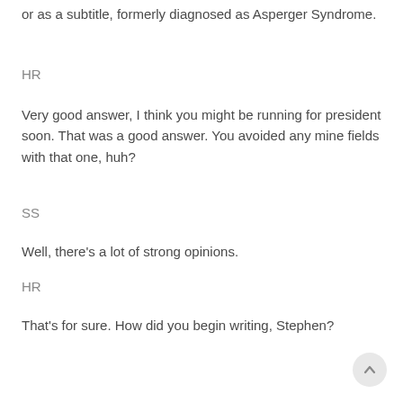or as a subtitle, formerly diagnosed as Asperger Syndrome.
HR
Very good answer, I think you might be running for president soon. That was a good answer. You avoided any mine fields with that one, huh?
SS
Well, there's a lot of strong opinions.
HR
That's for sure. How did you begin writing, Stephen?